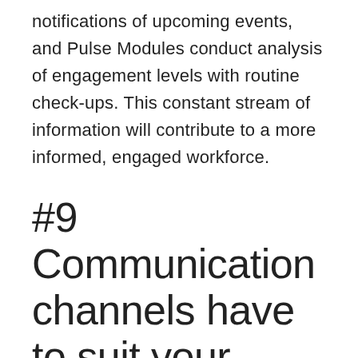notifications of upcoming events, and Pulse Modules conduct analysis of engagement levels with routine check-ups. This constant stream of information will contribute to a more informed, engaged workforce.
#9 Communication channels have to suit your audience
Put simply, you need to select the right tool for the job at hand. How effectively a message is